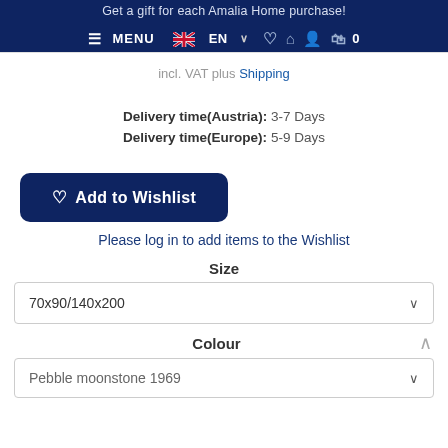Get a gift for each Amalia Home purchase!
≡ MENU  🇬🇧 EN ∨  ♡  ⌂  👤  🛍 0
incl. VAT plus Shipping
Delivery time(Austria): 3-7 Days
Delivery time(Europe): 5-9 Days
♡ Add to Wishlist
Please log in to add items to the Wishlist
Size
70x90/140x200
Colour
Pebble moonstone 1969